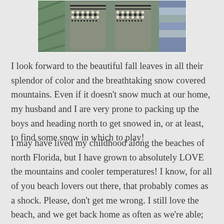[Figure (photo): A photo of two gray knitted mittens or socks with a Fair Isle / Nordic pattern in white and black, laid on a colorful striped knitted fabric background.]
I look forward to the beautiful fall leaves in all their splendor of color and the breathtaking snow covered mountains. Even if it doesn't snow much at our home, my husband and I are very prone to packing up the boys and heading north to get snowed in, or at least, to find some snow in which to play!
I may have lived my childhood along the beaches of north Florida, but I have grown to absolutely LOVE the mountains and cooler temperatures! I know, for all of you beach lovers out there, that probably comes as a shock. Please, don't get me wrong. I still love the beach, and we get back home as often as we're able; however, if I had to choose between warmer weather and bathing